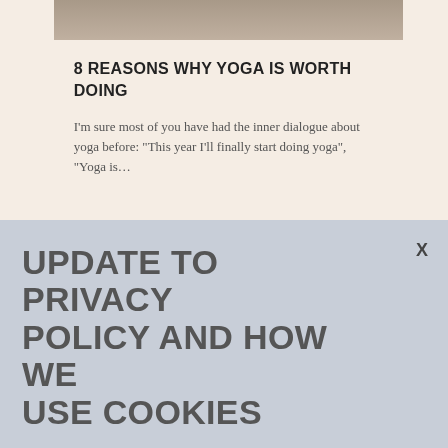[Figure (photo): Partial photo strip at the top of an article card, showing a blurred outdoor/yoga scene]
8 REASONS WHY YOGA IS WORTH DOING
I'm sure most of you have had the inner dialogue about yoga before: "This year I'll finally start doing yoga", "Yoga is...
UPDATE TO PRIVACY POLICY AND HOW WE USE COOKIES
Per our updated privacy policy, we use cookies to track your browsing behavior on our site and provide you with ads or other offers that may be relevant to you. To view our privacy policy in full, click here. By using our site, you agree to these terms.